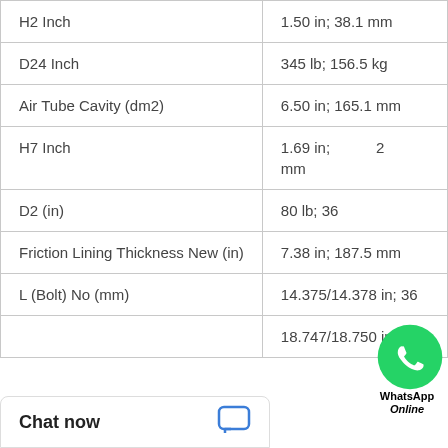| Parameter | Value |
| --- | --- |
| H2 Inch | 1.50 in; 38.1 mm |
| D24 Inch | 345 lb; 156.5 kg |
| Air Tube Cavity (dm2) | 6.50 in; 165.1 mm |
| H7 Inch | 1.69 in; [value] mm |
| D2 (in) | 80 lb; 36 [unit] |
| Friction Lining Thickness New (in) | 7.38 in; 187.5 mm |
| L (Bolt) No (mm) | 14.375/14.378 in; 36 |
|  | 18.747/18.750 in; 47 |
[Figure (logo): WhatsApp Online icon with green phone logo and text 'WhatsApp Online']
Chat now